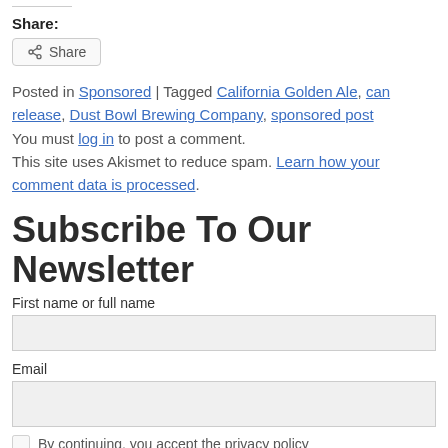Share:
Share (button)
Posted in Sponsored | Tagged California Golden Ale, can release, Dust Bowl Brewing Company, sponsored post
You must log in to post a comment.
This site uses Akismet to reduce spam. Learn how your comment data is processed.
Subscribe To Our Newsletter
First name or full name
Email
By continuing, you accept the privacy policy
Subscribe